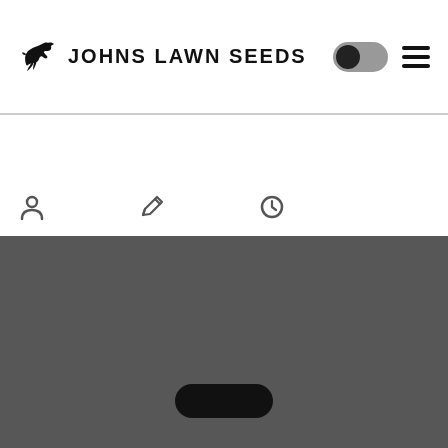JOHNS LAWN SEEDS
[Figure (screenshot): Mobile app screenshot showing Johns Lawn Seeds app header with logo (crow/bird icon), toggle switch, and hamburger menu. Main content area is blank/white. Bottom navigation bar with user, edit, and clock icons. Dark gray phone bottom bar with home indicator pill.]